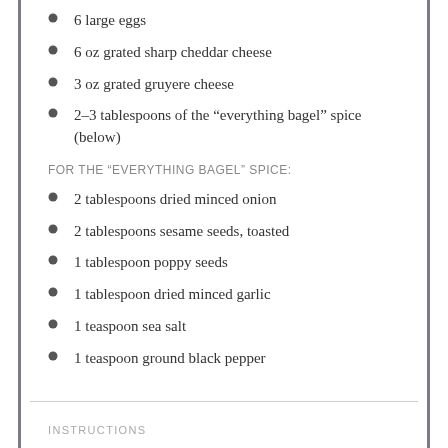6 large eggs
6 oz grated sharp cheddar cheese
3 oz grated gruyere cheese
2–3 tablespoons of the “everything bagel” spice (below)
FOR THE “EVERYTHING BAGEL” SPICE:
2 tablespoons dried minced onion
2 tablespoons sesame seeds, toasted
1 tablespoon poppy seeds
1 tablespoon dried minced garlic
1 teaspoon sea salt
1 teaspoon ground black pepper
INSTRUCTIONS